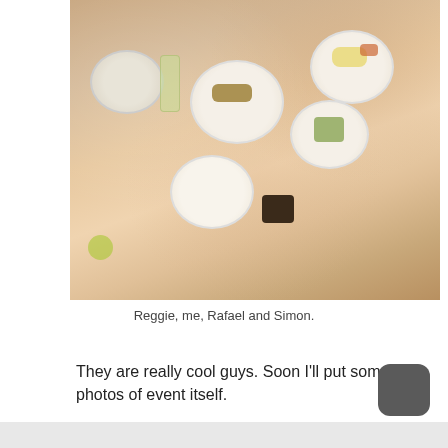[Figure (photo): Overhead view of a round restaurant table with multiple white plates of food, glasses, and a dark mug, with people seated around it visible at edges.]
Reggie, me, Rafael and Simon.
They are really cool guys. Soon I'll put some photos of event itself.
Unfortunately I could not stay for the event due my flight to SÃ£o Paulo in order to be in the Campus Party Brasil 2008.